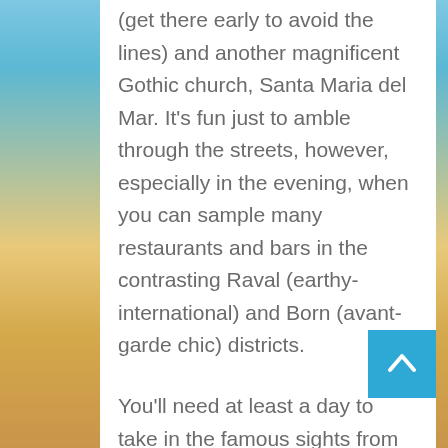(get there early to avoid the lines) and another magnificent Gothic church, Santa Maria del Mar. It's fun just to amble through the streets, however, especially in the evening, when you can sample many restaurants and bars in the contrasting Raval (earthy-international) and Born (avant-garde chic) districts.
You'll need at least a day to take in the famous sights from the modernisme movement in architecture. Before you start, stop in the tourist office in Placa Catalunya (and other locations), where you can get maps, a guidebook and discount vouchers to the city's 115 modernisme monuments. For more information, visit